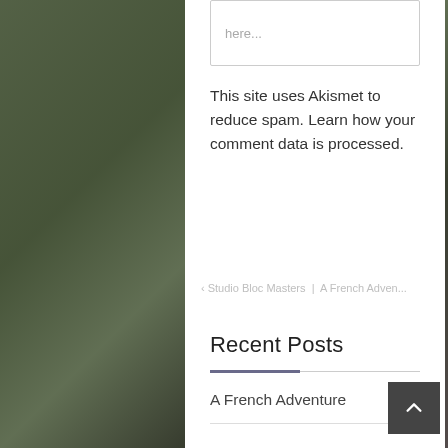here...
This site uses Akismet to reduce spam. Learn how your comment data is processed.
< Studio Bloc Masters | A French Adven...
Recent Posts
A French Adventure